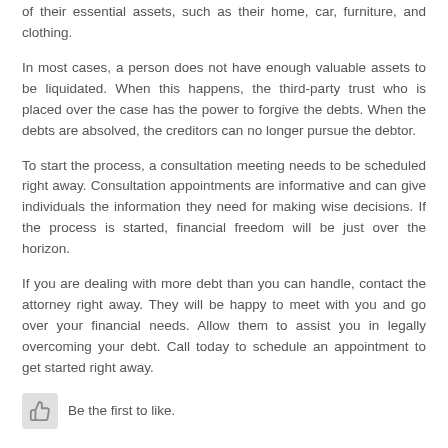of their essential assets, such as their home, car, furniture, and clothing.
In most cases, a person does not have enough valuable assets to be liquidated. When this happens, the third-party trust who is placed over the case has the power to forgive the debts. When the debts are absolved, the creditors can no longer pursue the debtor.
To start the process, a consultation meeting needs to be scheduled right away. Consultation appointments are informative and can give individuals the information they need for making wise decisions. If the process is started, financial freedom will be just over the horizon.
If you are dealing with more debt than you can handle, contact the attorney right away. They will be happy to meet with you and go over your financial needs. Allow them to assist you in legally overcoming your debt. Call today to schedule an appointment to get started right away.
Be the first to like.